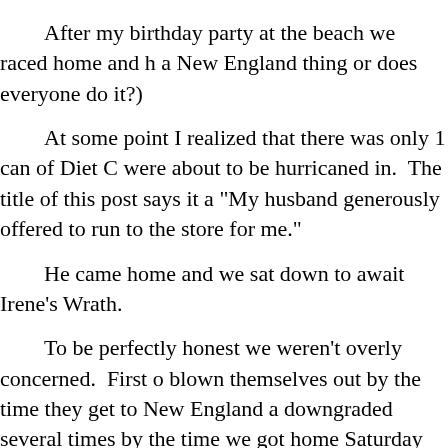After my birthday party at the beach we raced home and h a New England thing or does everyone do it?)
At some point I realized that there was only 1 can of Diet C were about to be hurricaned in.  The title of this post says it a "My husband generously offered to run to the store for me."
He came home and we sat down to await Irene's Wrath.
To be perfectly honest we weren't overly concerned.  First o blown themselves out by the time they get to New England a downgraded several times by the time we got home Saturday
Apparently Irene is an emotional bitch who doesn't like bei
Because she kicked my ass.
Sunday morning my husband got up with the kids.  This wa gotten up the day before too and two days of sleeping in is be